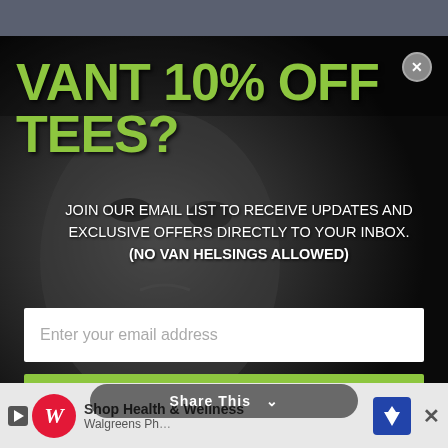[Figure (photo): Black and white close-up portrait of a man's face used as background for a promotional popup overlay]
VANT 10% OFF TEES?
JOIN OUR EMAIL LIST TO RECEIVE UPDATES AND EXCLUSIVE OFFERS DIRECTLY TO YOUR INBOX. (NO VAN HELSINGS ALLOWED)
Enter your email address
SUBSCRIBE
*By completing this form you are signing up to receive our emails and can unsubscribe at any time.
[Figure (infographic): Bottom advertisement banner showing Walgreens Shop Health & Wellness ad with logo and navigation icon, plus Share This overlay button]